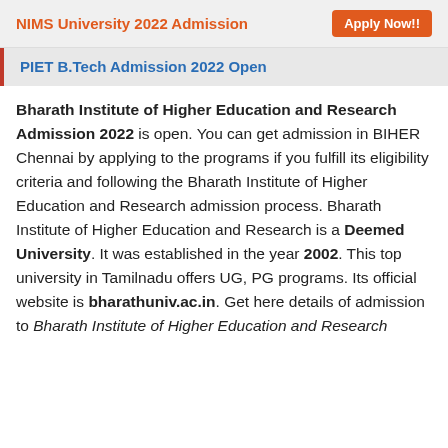NIMS University 2022 Admission   Apply Now!!
PIET B.Tech Admission 2022 Open
Bharath Institute of Higher Education and Research Admission 2022 is open. You can get admission in BIHER Chennai by applying to the programs if you fulfill its eligibility criteria and following the Bharath Institute of Higher Education and Research admission process. Bharath Institute of Higher Education and Research is a Deemed University. It was established in the year 2002. This top university in Tamilnadu offers UG, PG programs. Its official website is bharathuniv.ac.in. Get here details of admission to Bharath Institute of Higher Education and Research